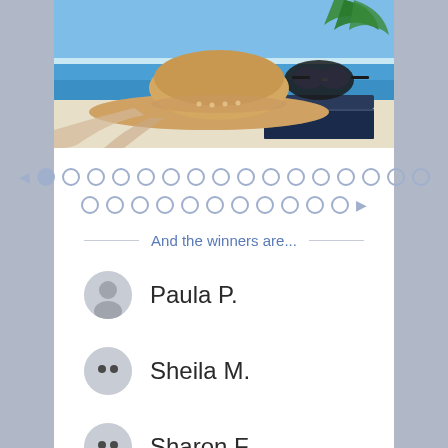[Figure (photo): Beach scene with straw sun hat, sunglasses on a book, blue ocean in background]
[Figure (infographic): Pagination dots: one filled dot followed by many empty dots in two rows, with left and right arrows]
And the winners are...
Paula P.
Sheila M.
Sharon F.